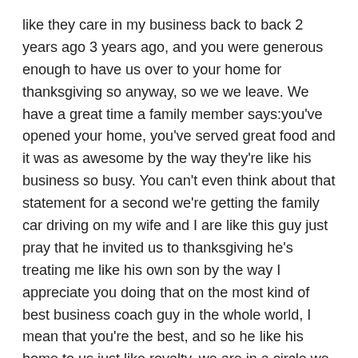like they care in my business back to back 2 years ago 3 years ago, and you were generous enough to have us over to your home for thanksgiving so anyway, so we we leave. We have a great time a family member says:you've opened your home, you've served great food and it was as awesome by the way they're like his business so busy. You can't even think about that statement for a second we're getting the family car driving on my wife and I are like this guy just pray that he invited us to thanksgiving he's treating me like his own son by the way I appreciate you doing that on the most kind of best business coach guy in the whole world, I mean that you're the best, and so he like his home to us just like royalty, we are in a circle we are holding hands, were doing the the prayer together, hospitality, it's so busy. You can't even get in. We had a party at a staff party at your house one time all of our employees are there, so he would love to have one day.
Someone goes and I went in there on saturday or the day after the party, and it was so busy I couldn't i, think you're reading it